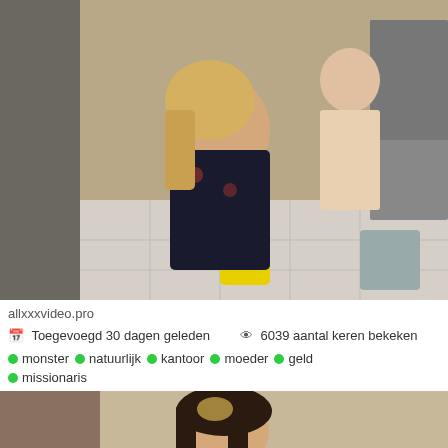[Figure (photo): Thumbnail screenshot from adult video website showing two people in a kitchen setting]
allxxxvideo.pro
Toegevoegd 30 dagen geleden   6039 aantal keren bekeken
monster  natuurlijk  kantoor  moeder  geld  missionaris
[Figure (photo): Second video thumbnail showing a person with dark hair]